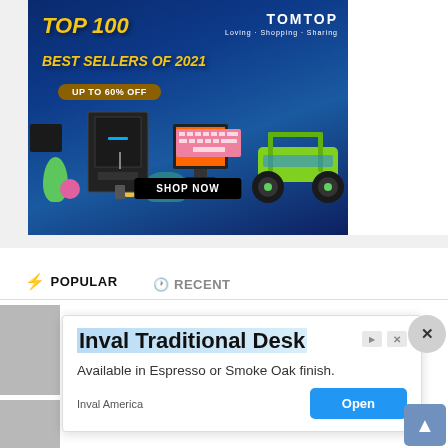[Figure (screenshot): TOMTOP advertisement banner: Top 100 Best Sellers of 2021, Up to 60% Off, Shop Now. Shows 3D printer, RC car, monitor, keyboard, vases on blue background.]
⚡ POPULAR    🕐 RECENT
[Figure (screenshot): Popup advertisement for Inval Traditional Desk. Available in Espresso or Smoke Oak finish. Inval America. Open button. Close X button. Scroll-to-top button.]
Inval Traditional Desk
Available in Espresso or Smoke Oak finish.
Inval America
What is The Complicated Future of Virtual And